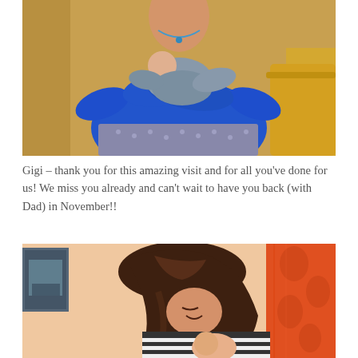[Figure (photo): A woman in a blue long-sleeve top and patterned skirt holding a baby in a gray outfit, standing in front of a yellow/gold wall.]
Gigi – thank you for this amazing visit and for all you've done for us! We miss you already and can't wait to have you back (with Dad) in November!!
[Figure (photo): A woman with dark hair wearing a black and white striped top, leaning down and nuzzling a baby, with an orange patterned curtain visible in the background.]